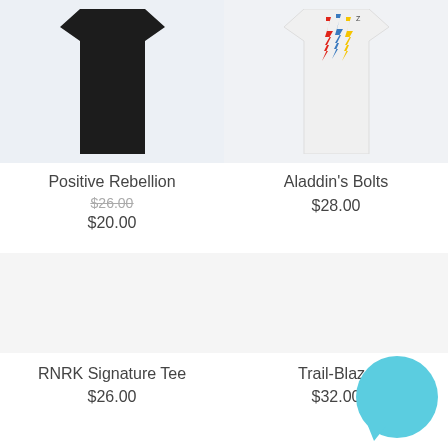[Figure (photo): Black t-shirt product image on light blue-gray background]
Positive Rebellion
$26.00
$20.00
[Figure (photo): White t-shirt with colorful lightning bolt design on light background]
Aladdin's Bolts
$28.00
[Figure (photo): RNRK Signature Tee product image area]
RNRK Signature Tee
$26.00
[Figure (photo): Trail-Blaze product image area, partially obscured by chat bubble]
Trail-Blaze
$32.00